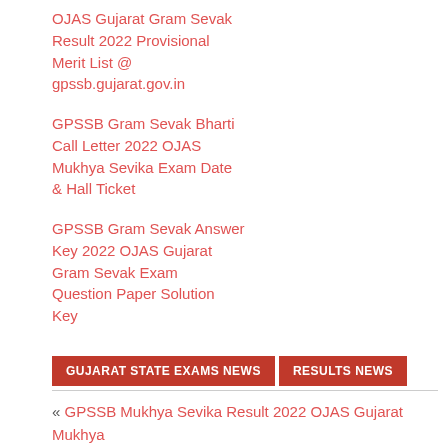OJAS Gujarat Gram Sevak Result 2022 Provisional Merit List @ gpssb.gujarat.gov.in
GPSSB Gram Sevak Bharti Call Letter 2022 OJAS Mukhya Sevika Exam Date & Hall Ticket
GPSSB Gram Sevak Answer Key 2022 OJAS Gujarat Gram Sevak Exam Question Paper Solution Key
GUJARAT STATE EXAMS NEWS
RESULTS NEWS
« GPSSB Mukhya Sevika Result 2022 OJAS Gujarat Mukhya Sevika Class 3 Cut Off Marks & Final Merit List
GPSSB Livestock Inspector Final Result 2022 OJAS Gujarat...